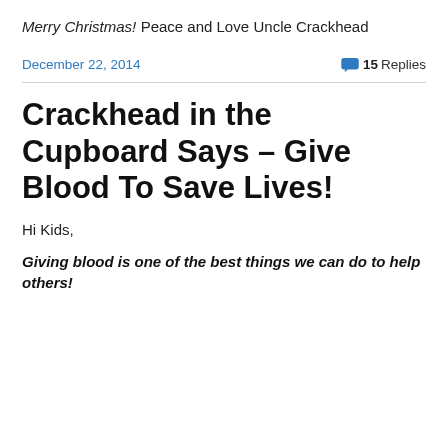Merry Christmas!
Peace and Love
Uncle Crackhead
December 22, 2014
💬 15 Replies
Crackhead in the Cupboard Says – Give Blood To Save Lives!
Hi Kids,
Giving blood is one of the best things we can do to help others!